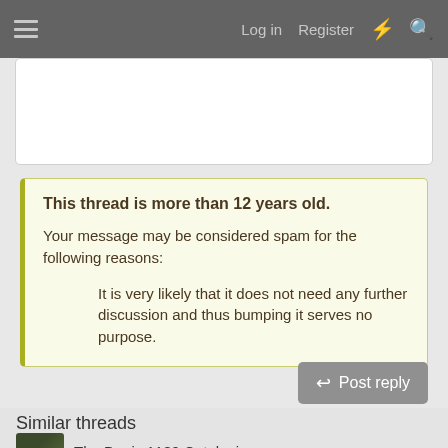Log in  Register
This thread is more than 12 years old.

Your message may be considered spam for the following reasons:

It is very likely that it does not need any further discussion and thus bumping it serves no purpose.
Post reply
Similar threads
The Denix 1189 Catalonian